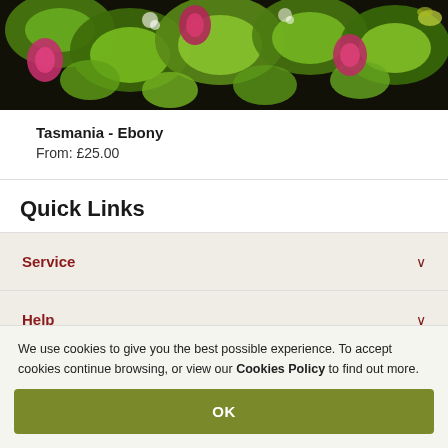[Figure (photo): Colorful tropical botanical print fabric with green leaves, pink and magenta flowers on a dark background]
Tasmania - Ebony
From: £25.00
Quick Links
Service
Help
About
We use cookies to give you the best possible experience. To accept cookies continue browsing, or view our Cookies Policy to find out more.
OK